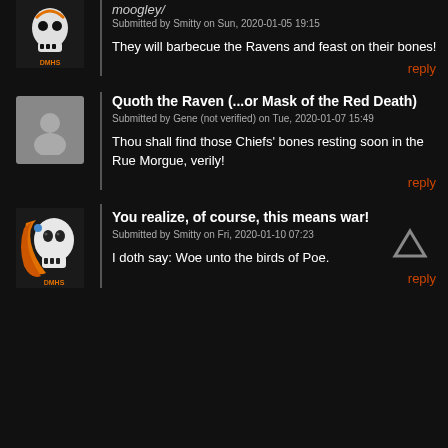moogley/
Submitted by Smitty on Sun, 2020-01-05 19:15
They will barbecue the Ravens and feast on their bones!
reply
Quoth the Raven (...or Mask of the Red Death)
Submitted by Gene (not verified) on Tue, 2020-01-07 15:49
Thou shall find those Chiefs' bones resting soon in the Rue Morgue, verily!
reply
You realize, of course, this means war!
Submitted by Smitty on Fri, 2020-01-10 07:23
I doth say: Woe unto the birds of Poe.
reply